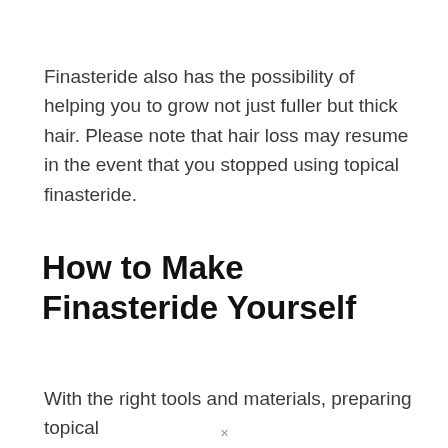Finasteride also has the possibility of helping you to grow not just fuller but thick hair. Please note that hair loss may resume in the event that you stopped using topical finasteride.
How to Make Finasteride Yourself
With the right tools and materials, preparing topical